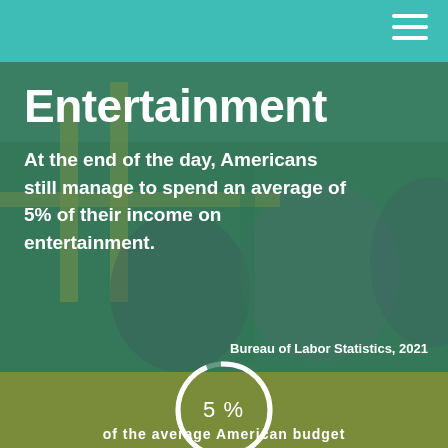Entertainment
At the end of the day, Americans still manage to spend an average of 5% of their income on entertainment.
Bureau of Labor Statistics, 2021
[Figure (donut-chart): 5% of the average American budget]
of the average American budget